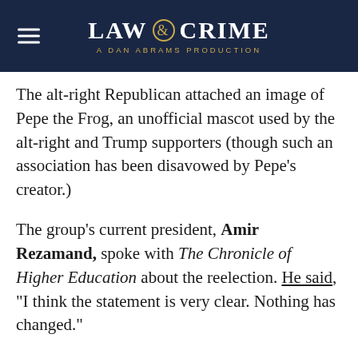LAW & CRIME — A DAN ABRAMS PRODUCTION
The alt-right Republican attached an image of Pepe the Frog, an unofficial mascot used by the alt-right and Trump supporters (though such an association has been disavowed by Pepe's creator.)
The group's current president, Amir Rezamand, spoke with The Chronicle of Higher Education about the reelection. He said, “I think the statement is very clear. Nothing has changed.”
Complicating the issue are the comments of Brian Shuffield, the director of WSU’s student activities office. Shuffield said Allsup won’t be allowed to